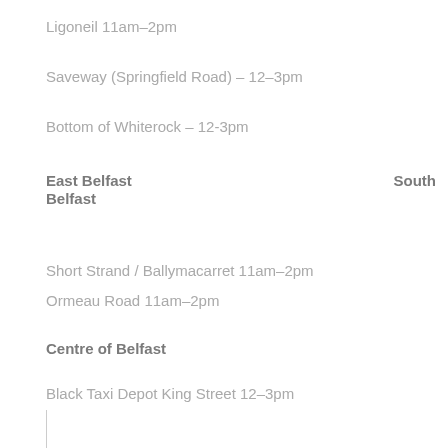Ligoneil  11am–2pm
Saveway (Springfield Road) – 12–3pm
Bottom of Whiterock – 12-3pm
East Belfast                                          South Belfast
Short Strand / Ballymacarret 11am–2pm
Ormeau Road 11am–2pm
Centre of Belfast
Black Taxi Depot  King Street 12–3pm